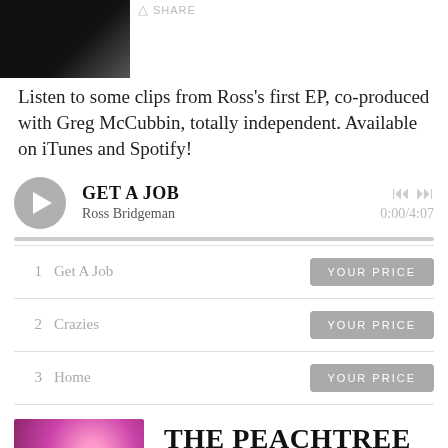[Figure (photo): Partial black and white album cover photo, top left corner]
SHARE
Listen to some clips from Ross's first EP, co-produced with Greg McCubbin, totally independent. Available on iTunes and Spotify!
[Figure (other): Music player widget showing track GET A JOB by Ross Bridgeman, with play button, skip controls, time 0:00/4:07, and progress bar]
| # | Title | Price |
| --- | --- | --- |
| 1 | Get A Job | YOUR PRICE |
| 2 | Crazies | YOUR PRICE |
| 3 | Home | YOUR PRICE |
[Figure (photo): Album cover for The Peachtree Dance by Mother Honey, pink/purple background with disco lighting]
THE PEACHTREE DANCE